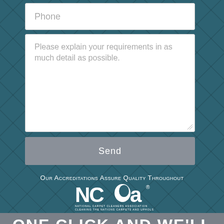[Figure (screenshot): Phone input field (text box) with placeholder text 'Phone']
[Figure (screenshot): Textarea input field with placeholder text 'Please explain your requirements in as much detail as possible.']
[Figure (screenshot): Gray 'Send' button]
Our Accreditations Assure Quality Throughout
[Figure (logo): NCCA National Carpet Cleaners Association logo — white logo with text 'NCCA®', 'NATIONAL CARPET CLEANERS ASSOCIATION', 'CLEANING THE NATIONS CARPETS AND UPHOLSTERY']
One click and we'll be in touch
[Figure (screenshot): Dark teal 'Get A Quote!' button]
[Figure (logo): Green circular WhatsApp icon button]